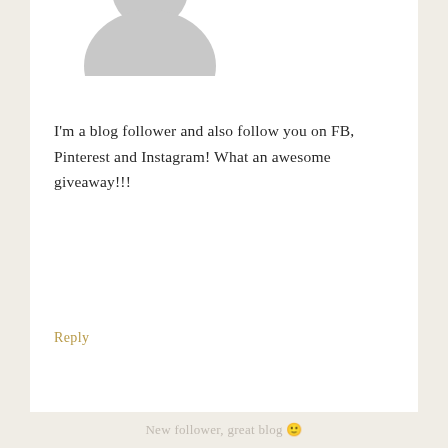[Figure (illustration): Generic user avatar icon (gray silhouette, top portion visible) for the first commenter]
I'm a blog follower and also follow you on FB, Pinterest and Instagram! What an awesome giveaway!!!
Reply
[Figure (illustration): Generic user avatar icon (gray silhouette) for Deep Roots commenter]
DEEP ROOTS says
OCTOBER 28, 2013 AT 2:44 PM
New follower, great blog 🙂